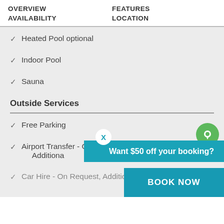OVERVIEW   FEATURES   AVAILABILITY   LOCATION
Heated Pool optional
Indoor Pool
Sauna
Outside Services
Free Parking
Airport Transfer - On Request, Additional Cost
Car Hire - On Request, Additional Cost
Want $50 off your booking?
BOOK NOW